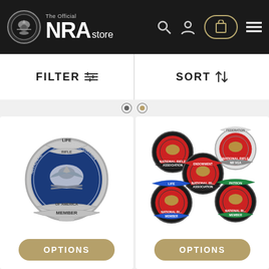[Figure (logo): NRA Store official logo with emblem on dark navbar]
FILTER
SORT
[Figure (photo): NRA Life Member lapel pin — circular silver and blue enamel badge reading National Rifle Association of America Member, Life]
OPTIONS
[Figure (photo): Collection of five NRA member lapel pins: Life, Endowment, Patron, and standard member pins in red, blue, and green enamel]
OPTIONS